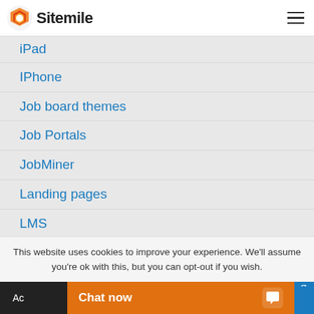Sitemile
iPad
IPhone
Job board themes
Job Portals
JobMiner
Landing pages
LMS
Marketplace Themes
Mobile Apps
News
This website uses cookies to improve your experience. We'll assume you're ok with this, but you can opt-out if you wish.
Chat now